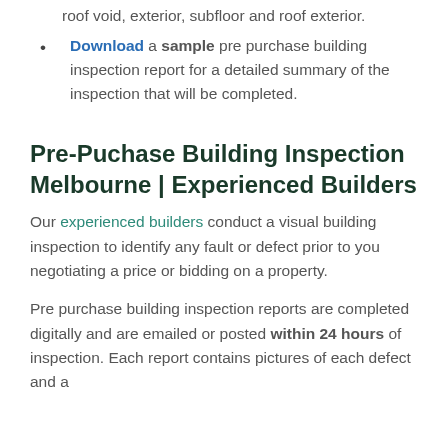roof void, exterior, subfloor and roof exterior.
Download a sample pre purchase building inspection report for a detailed summary of the inspection that will be completed.
Pre-Puchase Building Inspection Melbourne | Experienced Builders
Our experienced builders conduct a visual building inspection to identify any fault or defect prior to you negotiating a price or bidding on a property.
Pre purchase building inspection reports are completed digitally and are emailed or posted within 24 hours of inspection. Each report contains pictures of each defect and a